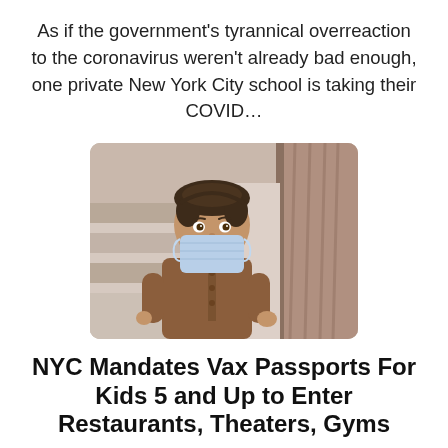As if the government's tyrannical overreaction to the coronavirus weren't already bad enough, one private New York City school is taking their COVID…
[Figure (photo): Young boy wearing a light blue surgical face mask, dressed in a brown traditional shirt, standing near metal railings with a blurred background.]
NYC Mandates Vax Passports For Kids 5 and Up to Enter Restaurants, Theaters, Gyms
BRITTANY M. HUGHES